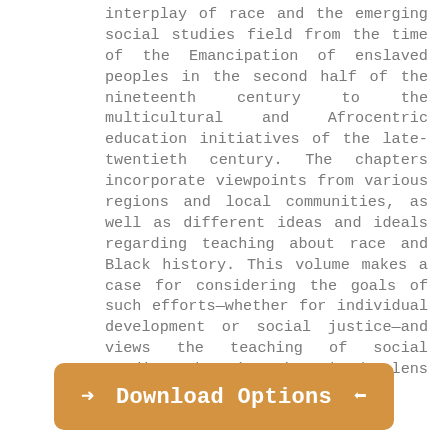interplay of race and the emerging social studies field from the time of the Emancipation of enslaved peoples in the second half of the nineteenth century to the multicultural and Afrocentric education initiatives of the late-twentieth century. The chapters incorporate viewpoints from various regions and local communities, as well as different ideas and ideals regarding teaching about race and Black history. This volume makes a case for considering the goals of such efforts—whether for individual development or social justice—and views the teaching of social studies education through the lens of race.
[Figure (other): Orange/tan rounded button with white text 'Download Options' flanked by left and right arrows]